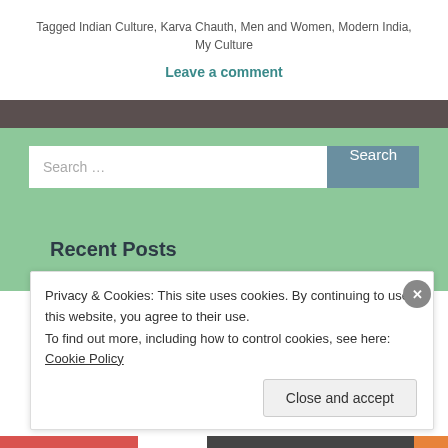Tagged Indian Culture, Karva Chauth, Men and Women, Modern India, My Culture
Leave a comment
[Figure (other): Search bar with text input and Search button on green background]
Recent Posts
Privacy & Cookies: This site uses cookies. By continuing to use this website, you agree to their use. To find out more, including how to control cookies, see here: Cookie Policy
Close and accept